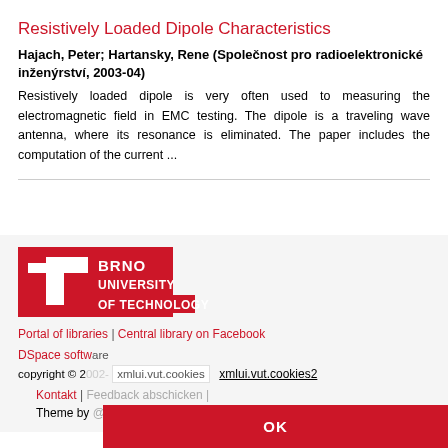Resistively Loaded Dipole Characteristics
Hajach, Peter; Hartansky, Rene (Společnost pro radioelektronické inženýrství, 2003-04)
Resistively loaded dipole is very often used to measuring the electromagnetic field in EMC testing. The dipole is a traveling wave antenna, where its resonance is eliminated. The paper includes the computation of the current ...
[Figure (logo): Brno University of Technology logo — red T-shaped symbol with white text BRNO UNIVERSITY OF TECHNOLOGY]
Portal of libraries | Central library on Facebook
DSpace software
copyright © 2002-  xmlui.vut.cookies  xmlui.vut.cookies2
Kontakt | Feedback abschicken |
Theme by @mire NV
OK